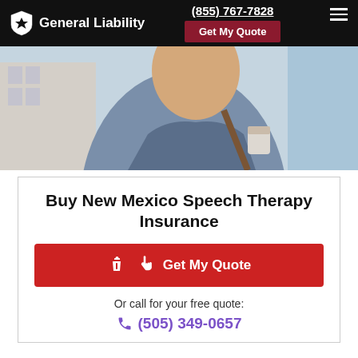General Liability | (855) 767-7828 | Get My Quote
[Figure (photo): Man in blue jacket smiling, holding a coffee cup, with a city building in the background]
Buy New Mexico Speech Therapy Insurance
Get My Quote
Or call for your free quote:
(505) 349-0657